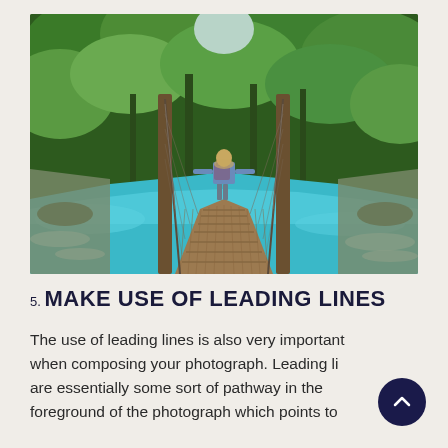[Figure (photo): A person with a backpack walking along a suspension bridge over a vivid turquoise river, surrounded by lush green forest trees. The bridge leads into the forest in the distance. Photographed from behind the figure, creating a strong leading-line composition.]
5. MAKE USE OF LEADING LINES
The use of leading lines is also very important when composing your photograph. Leading lines are essentially some sort of pathway in the foreground of the photograph which points to